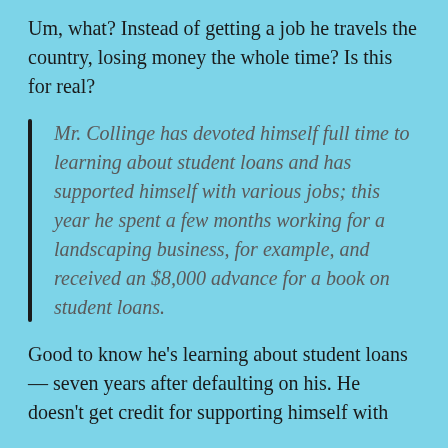Um, what? Instead of getting a job he travels the country, losing money the whole time? Is this for real?
Mr. Collinge has devoted himself full time to learning about student loans and has supported himself with various jobs; this year he spent a few months working for a landscaping business, for example, and received an $8,000 advance for a book on student loans.
Good to know he's learning about student loans — seven years after defaulting on his. He doesn't get credit for supporting himself with